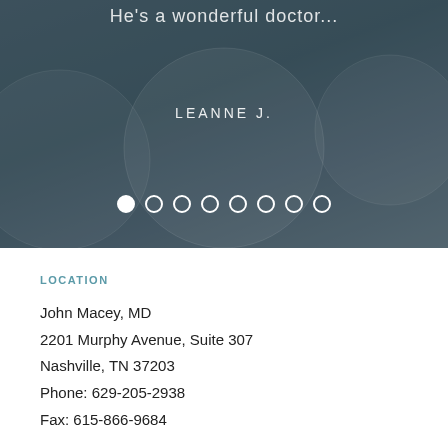[Figure (photo): Dark themed hero banner with blurred medical background, a circular photo placeholder, text 'He's a wonderful doctor...' and 'LEANNE J.' with pagination dots]
LOCATION
John Macey, MD
2201 Murphy Avenue, Suite 307
Nashville, TN 37203
Phone: 629-205-2938
Fax: 615-866-9684